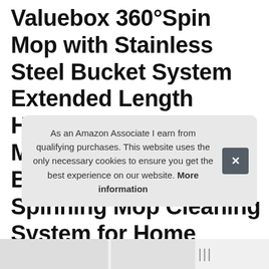Valuebox 360°Spin Mop with Stainless Steel Bucket System Extended Length Handle&2 Microfiber Mop Heads, Spin Mop Bucket System, Magic Spinning Mop Cleaning System for Home Kitchen Floor Cleaning
As an Amazon Associate I earn from qualifying purchases. This website uses the only necessary cookies to ensure you get the best experience on our website. More information
[Figure (other): Bottom image strip showing partial product image and a close icon]